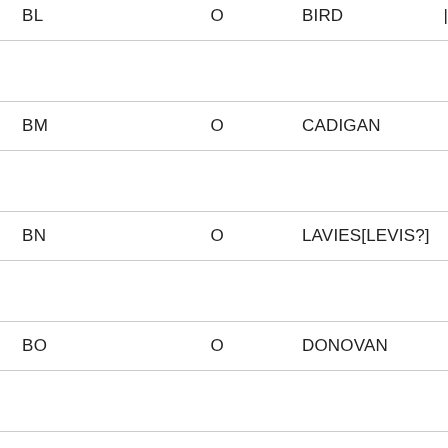| Code | Type | Name |
| --- | --- | --- |
| BL | O | BIRD |
| BM | O | CADIGAN |
| BN | O | LAVIES[LEVIS?] |
| BO | O | DONOVAN |
| BP | O | SULLIVAN |